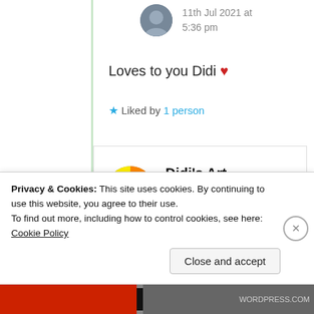11th Jul 2021 at 5:36 pm
Loves to you Didi ❤
★ Liked by 1 person
[Figure (photo): Circular avatar photo of a person]
Didi's Art Design
11th Jul 2021 at
[Figure (illustration): Colorful rainbow circular avatar for Didi's Art Design]
Privacy & Cookies: This site uses cookies. By continuing to use this website, you agree to their use. To find out more, including how to control cookies, see here: Cookie Policy
Close and accept